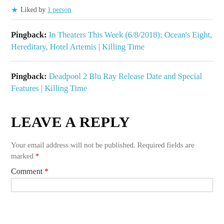★ Liked by 1 person
Pingback: In Theaters This Week (6/8/2018): Ocean's Eight, Hereditary, Hotel Artemis | Killing Time
Pingback: Deadpool 2 Blu Ray Release Date and Special Features | Killing Time
LEAVE A REPLY
Your email address will not be published. Required fields are marked *
Comment *